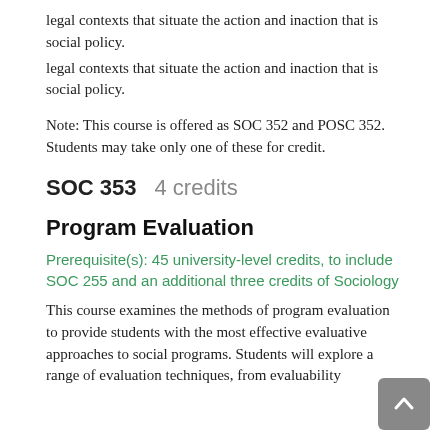legal contexts that situate the action and inaction that is social policy.
legal contexts that situate the action and inaction that is social policy.
Note: This course is offered as SOC 352 and POSC 352. Students may take only one of these for credit.
SOC 353    4 credits
Program Evaluation
Prerequisite(s): 45 university-level credits, to include SOC 255 and an additional three credits of Sociology
This course examines the methods of program evaluation to provide students with the most effective evaluative approaches to social programs. Students will explore a range of evaluation techniques, from evaluability